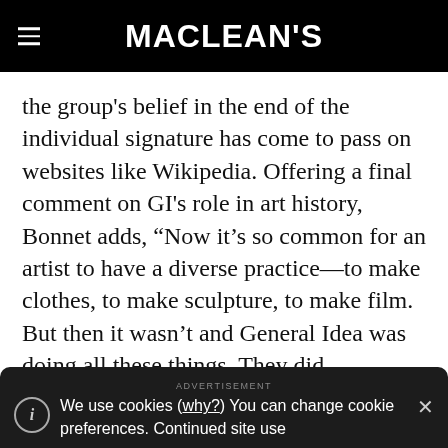MACLEAN'S
the group's belief in the end of the individual signature has come to pass on websites like Wikipedia. Offering a final comment on GI's role in art history, Bonnet adds, “Now it’s so common for an artist to have a diverse practice—to make clothes, to make sculpture, to make film. But then it wasn’t and General Idea was doing all these things. They did everything.”
We use cookies (why?) You can change cookie preferences. Continued site use